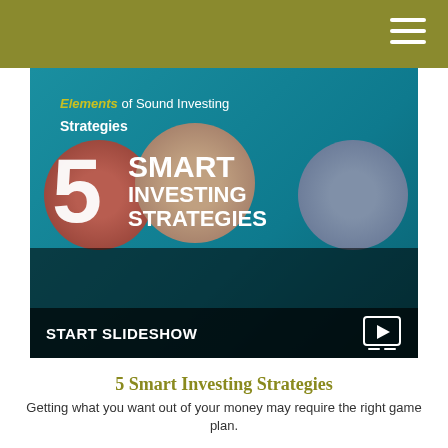[Figure (screenshot): Tablet screen showing '5 Smart Investing Strategies' slideshow presentation with 'Elements of Sound Investing Strategies' title, three circular people photos, large number 5 and 'SMART INVESTING STRATEGIES' text, and a 'START SLIDESHOW' bar at the bottom]
5 Smart Investing Strategies
Getting what you want out of your money may require the right game plan.